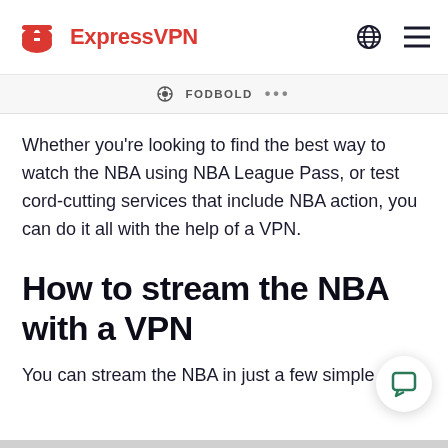ExpressVPN
⊕ FODBOLD •••
Whether you're looking to find the best way to watch the NBA using NBA League Pass, or test cord-cutting services that include NBA action, you can do it all with the help of a VPN.
How to stream the NBA with a VPN
You can stream the NBA in just a few simple